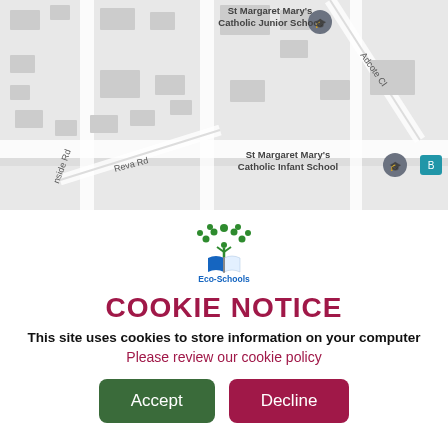[Figure (map): Google Maps screenshot showing St Margaret Mary's Catholic Junior School and St Margaret Mary's Catholic Infant School area, with street labels including Adcote Cl, Reva Rd, and a partial street name ending in 'nside Rd'.]
[Figure (logo): Eco-Schools logo: green tree with leaves and a figure holding open book, blue and white book pages, text 'Eco-Schools' in blue below.]
COOKIE NOTICE
This site uses cookies to store information on your computer
Please review our cookie policy